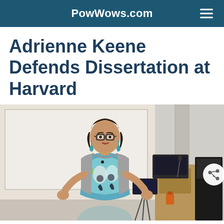PowWows.com
Adrienne Keene Defends Dissertation at Harvard
[Figure (photo): A woman with glasses and dangling earrings, wearing a colorful patterned dress and grey cardigan with a lapel microphone, presenting at a lecture with her hands gesturing. She stands in front of a whiteboard. A wooden lectern with a monitor and audio equipment is visible to the right. A tripod and tablet stand are visible in the background.]